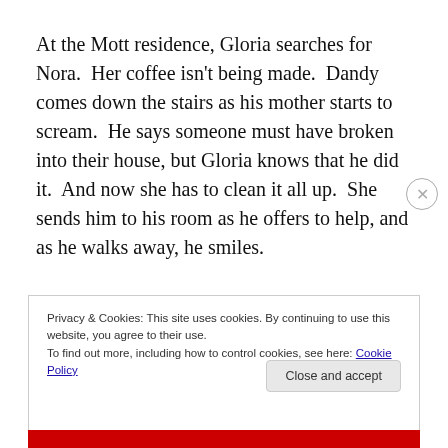At the Mott residence, Gloria searches for Nora. Her coffee isn't being made. Dandy comes down the stairs as his mother starts to scream. He says someone must have broken into their house, but Gloria knows that he did it. And now she has to clean it all up. She sends him to his room as he offers to help, and as he walks away, he smiles.
Privacy & Cookies: This site uses cookies. By continuing to use this website, you agree to their use. To find out more, including how to control cookies, see here: Cookie Policy
Close and accept